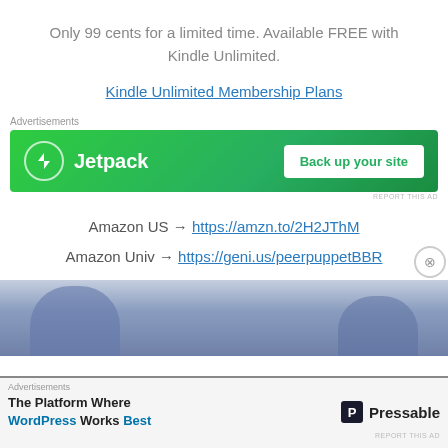Only 99 cents for a limited time. Available FREE with Kindle Unlimited.
Kindle Unlimited Membership Plans
Advertisements
[Figure (screenshot): Jetpack advertisement banner with green background showing Jetpack logo and 'Back up your site' button]
REPORT THIS AD
Amazon US → https://amzn.to/2H2JThM
Amazon Univ → https://geni.us/peerpuppetBBR
[Figure (photo): Blue-tinted photo of people, partially visible, with close button]
Advertisements
[Figure (screenshot): Pressable advertisement: 'The Platform Where WordPress Works Best' with Pressable logo]